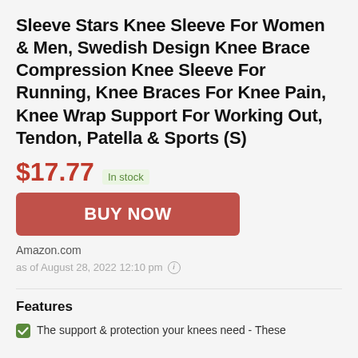Sleeve Stars Knee Sleeve For Women & Men, Swedish Design Knee Brace Compression Knee Sleeve For Running, Knee Braces For Knee Pain, Knee Wrap Support For Working Out, Tendon, Patella & Sports (S)
$17.77  In stock
BUY NOW
Amazon.com
as of August 28, 2022 12:10 pm ℹ
Features
The support & protection your knees need - These